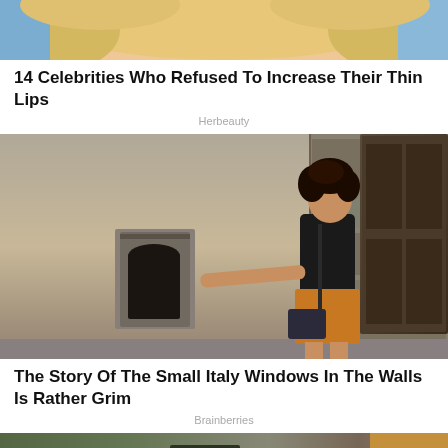[Figure (photo): Close-up cropped photo of a woman with blonde hair and blue background visible at top]
14 Celebrities Who Refused To Increase Their Thin Lips
Herbeauty
[Figure (photo): Woman with curly dark hair wearing black t-shirt and orange skirt, pointing at a small arched window in an old stone wall in Italy]
The Story Of The Small Italy Windows In The Walls Is Rather Grim
Brainberries
[Figure (photo): Partially visible image at the bottom of the page showing what appears to be a street or outdoor scene]